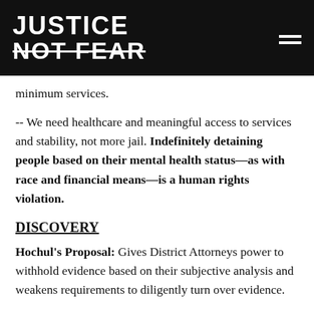JUSTICE NOT FEAR
minimum services.
-- We need healthcare and meaningful access to services and stability, not more jail. Indefinitely detaining people based on their mental health status—as with race and financial means—is a human rights violation.
DISCOVERY
Hochul's Proposal: Gives District Attorneys power to withhold evidence based on their subjective analysis and weakens requirements to diligently turn over evidence.